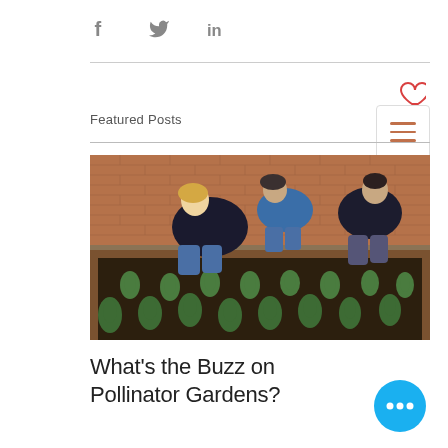[Figure (infographic): Social media share icons: Facebook (f), Twitter (bird), LinkedIn (in) displayed in a row]
[Figure (infographic): Heart (favorite/like) icon in red outline, top right area]
[Figure (infographic): Hamburger menu button (three horizontal lines in terracotta/orange color) inside a square bordered box]
Featured Posts
[Figure (photo): Photograph of three people crouching and planting small green plants in raised garden beds filled with dark soil, with a brick wall in the background.]
What's the Buzz on Pollinator Gardens?
[Figure (infographic): Blue circular button with three white dots (more options / ellipsis), bottom right corner]